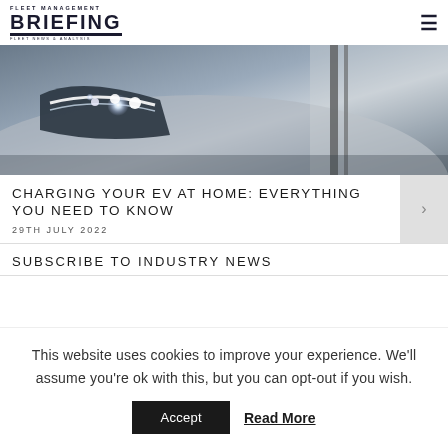Fleet Management Briefing - Fleet News & Analysis
[Figure (photo): Close-up photo of a car headlight with LED lights illuminated, and a charging cable visible in the background]
CHARGING YOUR EV AT HOME: EVERYTHING YOU NEED TO KNOW
29TH JULY 2022
SUBSCRIBE TO INDUSTRY NEWS
This website uses cookies to improve your experience. We'll assume you're ok with this, but you can opt-out if you wish.
Accept | Read More